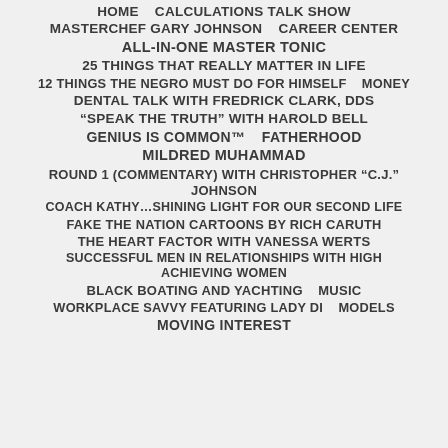HOME    CALCULATIONS TALK SHOW
MASTERCHEF GARY JOHNSON    CAREER CENTER
ALL-IN-ONE MASTER TONIC
25 THINGS THAT REALLY MATTER IN LIFE
12 THINGS THE NEGRO MUST DO FOR HIMSELF    MONEY
DENTAL TALK WITH FREDRICK CLARK, DDS
“SPEAK THE TRUTH” WITH HAROLD BELL
GENIUS IS COMMON™    FATHERHOOD
MILDRED MUHAMMAD
ROUND 1 (COMMENTARY) WITH CHRISTOPHER “C.J.” JOHNSON
COACH KATHY…SHINING LIGHT FOR OUR SECOND LIFE
FAKE THE NATION CARTOONS BY RICH CARUTH
THE HEART FACTOR WITH VANESSA WERTS
SUCCESSFUL MEN IN RELATIONSHIPS WITH HIGH ACHIEVING WOMEN
BLACK BOATING AND YACHTING    MUSIC
WORKPLACE SAVVY FEATURING LADY DI    MODELS
MOVING INTEREST